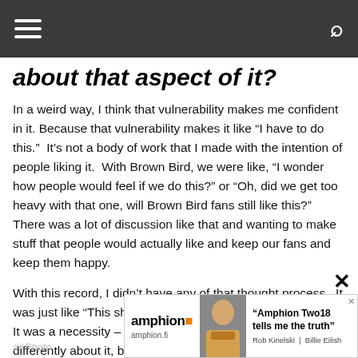Navigation bar with hamburger menu and search icon
about that aspect of it?
In a weird way, I think that vulnerability makes me confident in it. Because that vulnerability makes it like “I have to do this.”  It’s not a body of work that I made with the intention of people liking it.  With Brown Bird, we were like, “I wonder how people would feel if we do this?” or “Oh, did we get too heavy with that one, will Brown Bird fans still like this?”  There was a lot of discussion like that and wanting to make stuff that people would actually like and keep our fans and keep them happy.
With this record, I didn’t have any of that thought process.  It was just like “This shit’s coming out of me, I’m gonna do it.” It was a necessity – I had to do this.  The next record I’ll feel differently about it, because it will be like, “OK, people either really hated that one or they loved it, so NOW what do I do?” And I’ll change my process
[Figure (screenshot): Advertisement banner for Amphion Two18 speakers featuring Rob Kinelski and Billie Eilish quote: 'Amphion Two18 tells me the truth'. Shows amphion.fi URL and logo.]